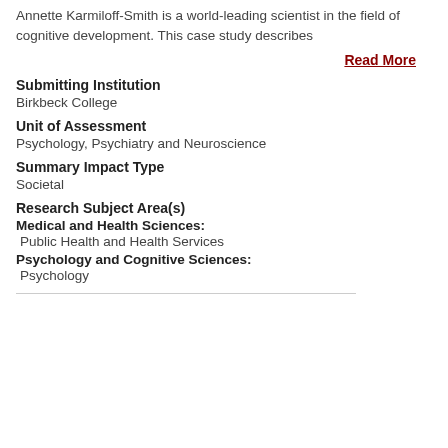Annette Karmiloff-Smith is a world-leading scientist in the field of cognitive development. This case study describes
Read More
Submitting Institution
Birkbeck College
Unit of Assessment
Psychology, Psychiatry and Neuroscience
Summary Impact Type
Societal
Research Subject Area(s)
Medical and Health Sciences: Public Health and Health Services
Psychology and Cognitive Sciences: Psychology